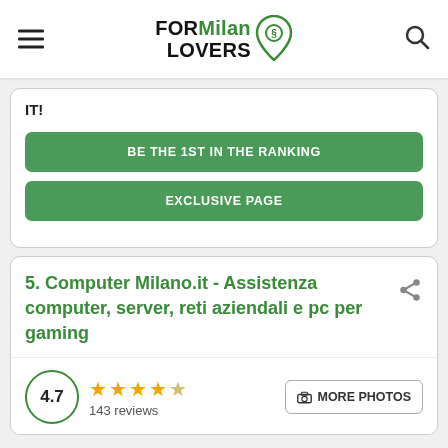FORMilan LOVERS
IT!
BE THE 1ST IN THE RANKING
EXCLUSIVE PAGE
5. Computer Milano.it - Assistenza computer, server, reti aziendali e pc per gaming
4.7 · 143 reviews · MORE PHOTOS